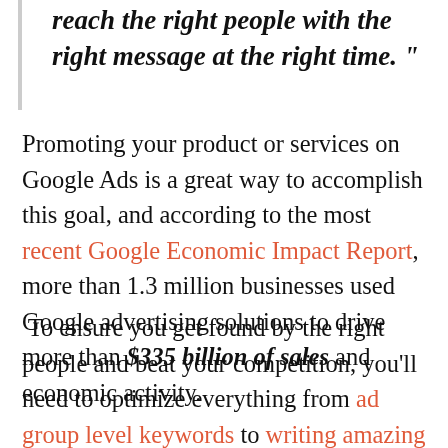reach the right people with the right message at the right time. ”
Promoting your product or services on Google Ads is a great way to accomplish this goal, and according to the most recent Google Economic Impact Report, more than 1.3 million businesses used Google advertising solutions to drive more than $335 billion of sales and economic activity.
To ensure you get found by the right people and beat your competition, you’ll need to optimize everything from ad group level keywords to writing amazing PPC ads and even adding different ad extensions to help your content